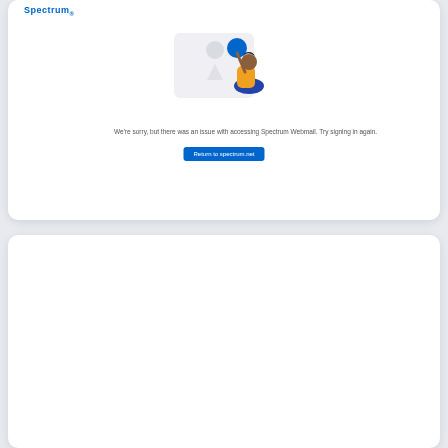[Figure (screenshot): Spectrum error page screenshot showing an illustration of a person with error shapes and message: We're sorry, but there was an issue with accessing Spectrum Webmail. Try signing in again. With a blue button: Return to spectrum.net]
Recently
Www Foe Tv Login
Rrd Vendor Portal Login
Pubshub Login
Tinchi2 Ftu Edu Vn Login